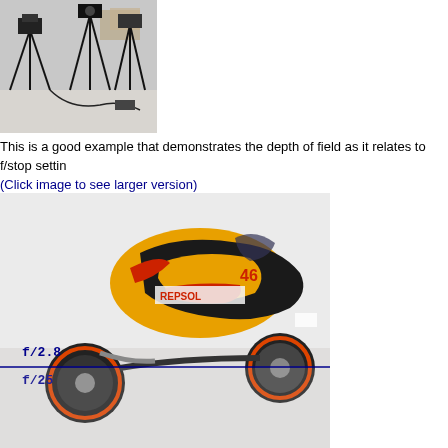[Figure (photo): Photography studio setup showing a camera on a tripod with lighting equipment in a room]
This is a good example that demonstrates the depth of field as it relates to f/stop settin (Click image to see larger version)
[Figure (photo): A Repsol Honda MotoGP motorcycle model (number 46, Valentino Rossi) photographed to demonstrate depth of field at different f/stop settings (f/2.8 and f/25), with a blue horizontal line separating the two depth-of-field regions and blue f-stop labels overlaid on the image]